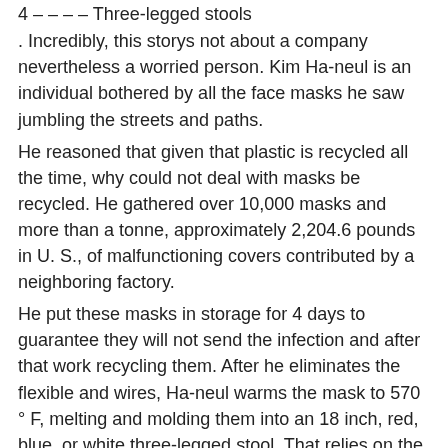4 – – – – Three-legged stools
. Incredibly, this storys not about a company nevertheless a worried person. Kim Ha-neul is an individual bothered by all the face masks he saw jumbling the streets and paths.
He reasoned that given that plastic is recycled all the time, why could not deal with masks be recycled. He gathered over 10,000 masks and more than a tonne, approximately 2,204.6 pounds in U. S., of malfunctioning covers contributed by a neighboring factory.
He put these masks in storage for 4 days to guarantee they will not send the infection and after that work recycling them. After he eliminates the flexible and wires, Ha-neul warms the mask to 570 ° F, melting and molding them into an 18 inch, red, blue, or white three-legged stool. That relies on the color of the face coverings hes recycling. Ha-neul mean to make other home furnishings pieces in the future, such as chairs, tables, and even lights.